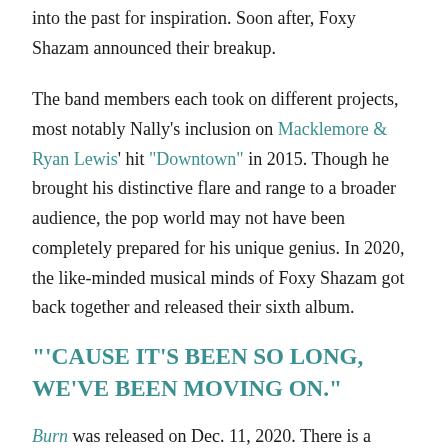into the past for inspiration. Soon after, Foxy Shazam announced their breakup.
The band members each took on different projects, most notably Nally's inclusion on Macklemore & Ryan Lewis' hit "Downtown" in 2015. Though he brought his distinctive flare and range to a broader audience, the pop world may not have been completely prepared for his unique genius. In 2020, the like-minded musical minds of Foxy Shazam got back together and released their sixth album.
"'Cause it's been so long, We've been moving on."
Burn was released on Dec. 11, 2020. There is a cosmic feel to the album in its entirety—similar to Gonzo. It's